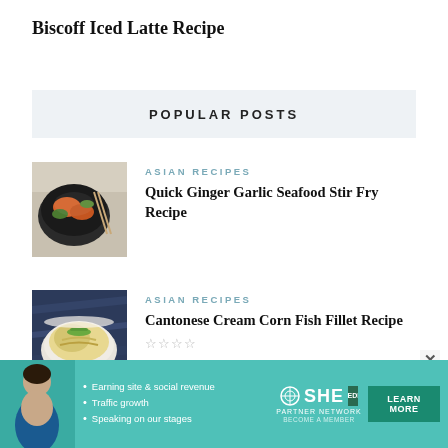Biscoff Iced Latte Recipe
POPULAR POSTS
[Figure (photo): Photo of Asian seafood stir fry dish in a dark bowl with chopsticks]
ASIAN RECIPES
Quick Ginger Garlic Seafood Stir Fry Recipe
[Figure (photo): Photo of Cantonese cream corn fish fillet in a white bowl]
ASIAN RECIPES
Cantonese Cream Corn Fish Fillet Recipe
☆☆☆☆
ASIAN RECIPES,LEFTOVER RECIPES
[Figure (other): SHE Media Partner Network advertisement banner with teal background, person photo, bullet points and Learn More button]